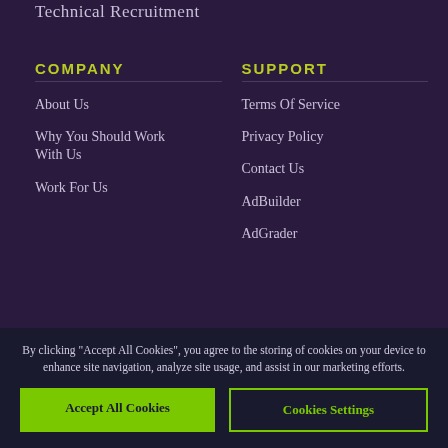Technical Recruitment
COMPANY
About Us
Why You Should Work With Us
Work For Us
SUPPORT
Terms Of Service
Privacy Policy
Contact Us
AdBuilder
AdGrader
FOLLOW
Coburg Banks Blo...
Fac...
Tw...
By clicking "Accept All Cookies", you agree to the storing of cookies on your device to enhance site navigation, analyze site usage, and assist in our marketing efforts.
Accept All Cookies
Cookies Settings